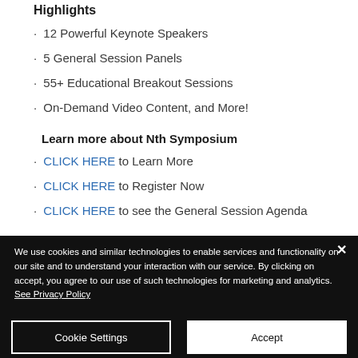Highlights
12 Powerful Keynote Speakers
5 General Session Panels
55+ Educational Breakout Sessions
On-Demand Video Content, and More!
Learn more about Nth Symposium
CLICK HERE to Learn More
CLICK HERE to Register Now
CLICK HERE to see the General Session Agenda
We use cookies and similar technologies to enable services and functionality on our site and to understand your interaction with our service. By clicking on accept, you agree to our use of such technologies for marketing and analytics. See Privacy Policy
Cookie Settings
Accept